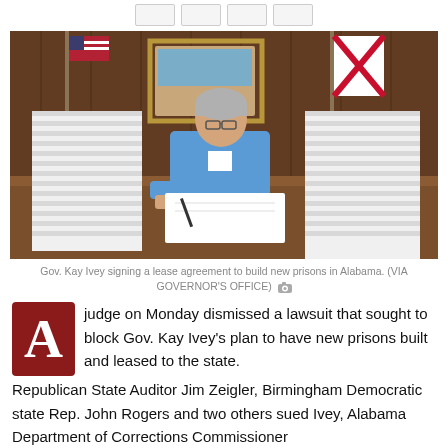[navigation buttons]
[Figure (photo): Gov. Kay Ivey sitting at a large wooden desk in her office, signing a lease agreement. Large stacks of white paper sit on each side of her. An American flag and Alabama state flag are visible behind her, along with wood-paneled walls and a painting.]
Gov. Kay Ivey signing a lease agreement to build new prisons in Alabama. (VIA GOVERNOR'S OFFICE)
A judge on Monday dismissed a lawsuit that sought to block Gov. Kay Ivey's plan to have new prisons built and leased to the state. Republican State Auditor Jim Zeigler, Birmingham Democratic state Rep. John Rogers and two others sued Ivey, Alabama Department of Corrections Commissioner